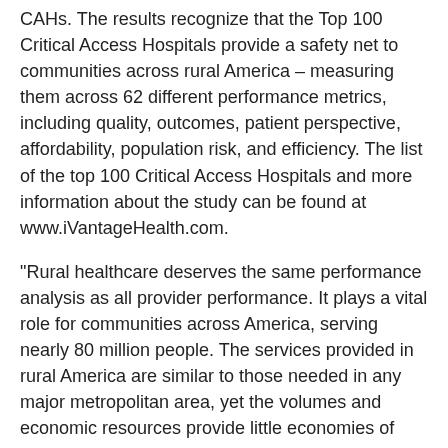CAHs. The results recognize that the Top 100 Critical Access Hospitals provide a safety net to communities across rural America – measuring them across 62 different performance metrics, including quality, outcomes, patient perspective, affordability, population risk, and efficiency. The list of the top 100 Critical Access Hospitals and more information about the study can be found at www.iVantageHealth.com.
"Rural healthcare deserves the same performance analysis as all provider performance. It plays a vital role for communities across America, serving nearly 80 million people. The services provided in rural America are similar to those needed in any major metropolitan area, yet the volumes and economic resources provide little economies of scale, making for little benefit from scale. These top 100 Critical Access Hospitals exhibit a focused concern for their community benefits and needs, regardless of scale, reimbursement, and people's ability to pay," said Michael Topchik, Senior Vice President of iVantage Health Analytics.
To learn more about Iowa Specialty Hospital – Belmond, including providers, services, and other awards, visit www.IowaSpecialtyHospital.com.